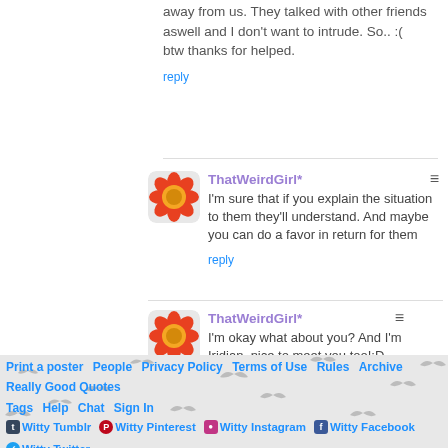away from us. They talked with other friends aswell and I don't want to intrude. So.. :( btw thanks for helped.
reply
ThatWeirdGirl*
I'm sure that if you explain the situation to them they'll understand. And maybe you can do a favor in return for them
reply
ThatWeirdGirl*
I'm okay what about you? And I'm Iridian, nice to meet you too!:D
reply
More Comments
Print a poster | People | Privacy Policy | Terms of Use | Rules | Archive | Really Good Quotes | Tags | Help | Chat | Sign In | Witty Tumblr | Witty Pinterest | Witty Instagram | Witty Facebook | Witty Twitter